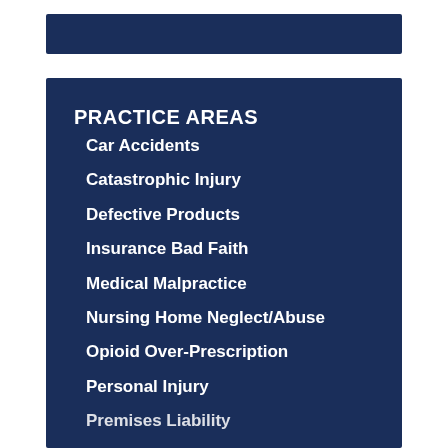PRACTICE AREAS
Car Accidents
Catastrophic Injury
Defective Products
Insurance Bad Faith
Medical Malpractice
Nursing Home Neglect/Abuse
Opioid Over-Prescription
Personal Injury
Premises Liability